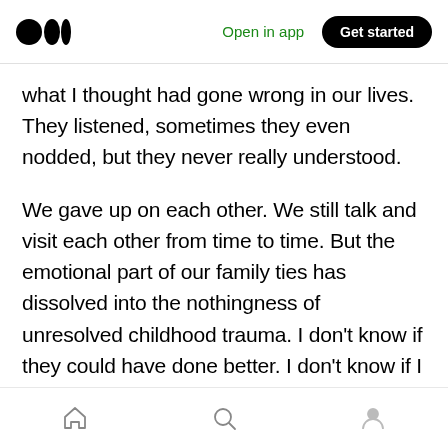Medium logo | Open in app | Get started
what I thought had gone wrong in our lives. They listened, sometimes they even nodded, but they never really understood.
We gave up on each other. We still talk and visit each other from time to time. But the emotional part of our family ties has dissolved into the nothingness of unresolved childhood trauma. I don't know if they could have done better. I don't know if I could have done better. I tried until it almost killed me and then decided to move on without them. I fear it's over. For them. For us. We
Home | Search | Profile